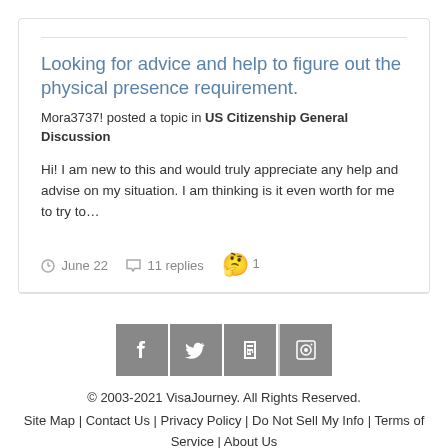Looking for advice and help to figure out the physical presence requirement.
Mora3737! posted a topic in US Citizenship General Discussion
Hi! I am new to this and would truly appreciate any help and advise on my situation. I am thinking is it even worth for me to try to…
June 22   11 replies   1
[Figure (logo): Social media icons: Facebook, Twitter, LinkedIn, Instagram]
© 2003-2021 VisaJourney. All Rights Reserved.
Site Map | Contact Us | Privacy Policy | Do Not Sell My Info | Terms of Service | About Us
Powered by Invision Community